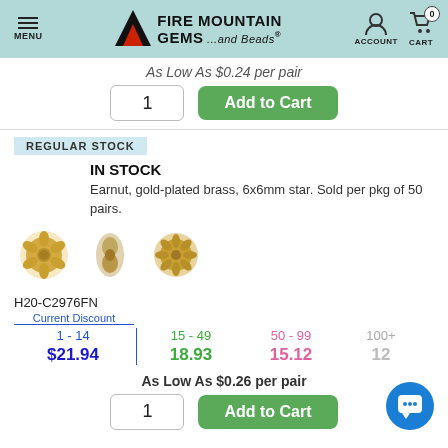MENU | FIRE MOUNTAIN GEMS ...and Beads | ACCOUNT | CART 0
As Low As $0.24 per pair
1  Add to Cart
REGULAR STOCK
IN STOCK
Earnut, gold-plated brass, 6x6mm star. Sold per pkg of 50 pairs.
[Figure (photo): Three views of gold-plated brass star earnut: front view, side view, and angled view.]
H20-C2976FN
| Current Discount 1 - 14 | 15 - 49 | 50 - 99 | 100+ |
| --- | --- | --- | --- |
| $21.94 | 18.93 | 15.12 | 12... |
As Low As $0.26 per pair
1  Add to Cart